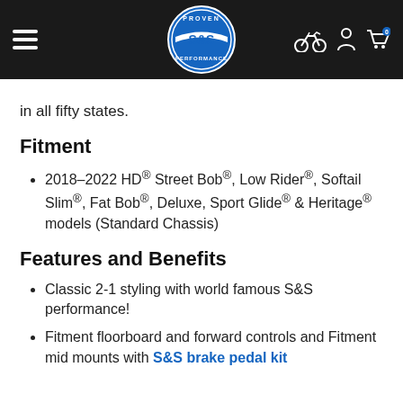S&S Cycle navigation header with logo
in all fifty states.
Fitment
2018–2022 HD® Street Bob®, Low Rider®, Softail Slim®, Fat Bob®, Deluxe, Sport Glide® & Heritage® models (Standard Chassis)
Features and Benefits
Classic 2-1 styling with world famous S&S performance!
Fitment floorboard and forward controls and Fitment mid mounts with S&S brake pedal kit